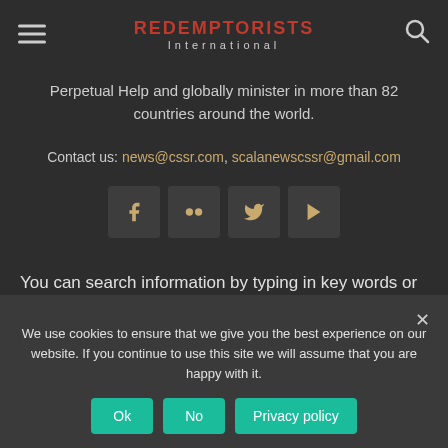REDEMPTORISTS International
Perpetual Help and globally minister in more than 82 countries around the world.
Contact us: news@cssr.com, scalanewscssr@gmail.com
[Figure (other): Social media icons: Facebook, Flickr, Twitter, YouTube]
You can search information by typing in key words or phrases here!
We use cookies to ensure that we give you the best experience on our website. If you continue to use this site we will assume that you are happy with it.
Ok  No  Privacy policy